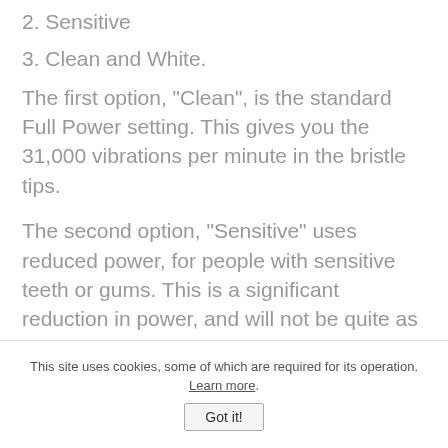2. Sensitive
3. Clean and White.
The first option, "Clean", is the standard Full Power setting. This gives you the 31,000 vibrations per minute in the bristle tips.
The second option, "Sensitive" uses reduced power, for people with sensitive teeth or gums. This is a significant reduction in power, and will not be quite as effective in removing plaque.
This site uses cookies, some of which are required for its operation. Learn more.